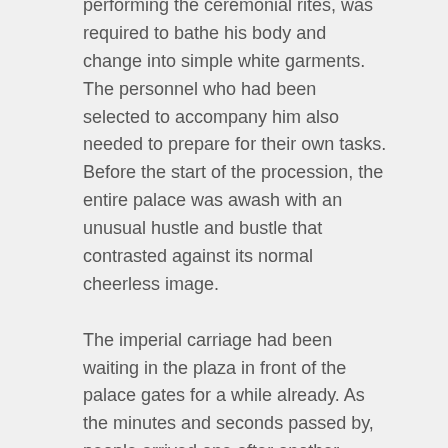performing the ceremonial rites, was required to bathe his body and change into simple white garments. The personnel who had been selected to accompany him also needed to prepare for their own tasks. Before the start of the procession, the entire palace was awash with an unusual hustle and bustle that contrasted against its normal cheerless image.

The imperial carriage had been waiting in the plaza in front of the palace gates for a while already. As the minutes and seconds passed by, people arrived one after another, waiting for all the preparations to be finished.

Ya Mei Die had been waiting beside the young emperor's carriage for quite a while now. However, he was not the least bit